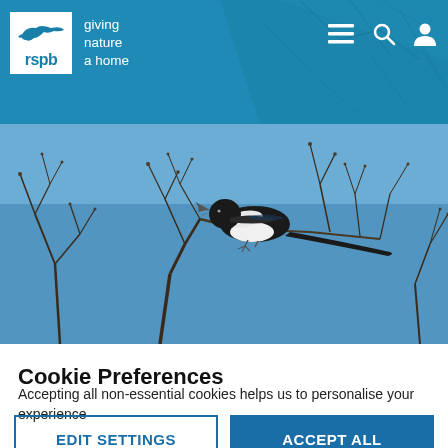rspb giving nature a home
[Figure (photo): A magpie (black and white bird) perched on bare winter branches against a bright blue sky, beak open as if calling.]
Cookie Preferences
Accepting all non-essential cookies helps us to personalise your experience
EDIT SETTINGS
ACCEPT ALL